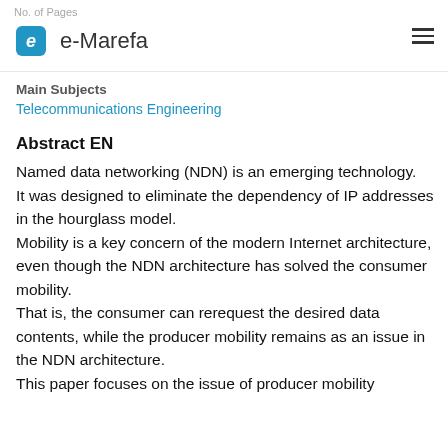No. of Pages | e-Marefa
Main Subjects
Telecommunications Engineering
Abstract EN
Named data networking (NDN) is an emerging technology.
It was designed to eliminate the dependency of IP addresses in the hourglass model.
Mobility is a key concern of the modern Internet architecture, even though the NDN architecture has solved the consumer mobility.
That is, the consumer can rerequest the desired data contents, while the producer mobility remains as an issue in the NDN architecture.
This paper focuses on the issue of producer mobility